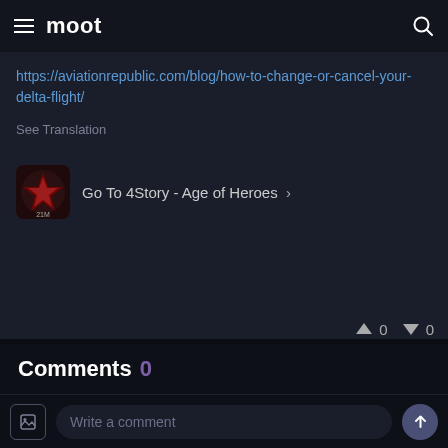moot
https://aviationrepublic.com/blog/how-to-change-or-cancel-your-delta-flight/
See Translation
Go To 4Story - Age of Heroes
0  0
Comments 0
Write a comment